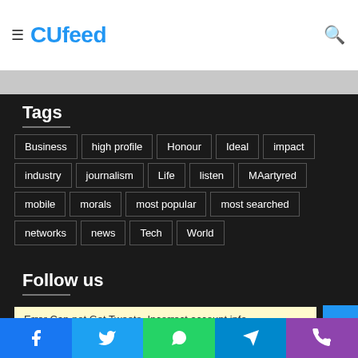CUfeed
Tags
Business
high profile
Honour
Ideal
impact
industry
journalism
Life
listen
MAartyred
mobile
morals
most popular
most searched
networks
news
Tech
World
Follow us
Error Can not Get Tweets. Incorrect account info.